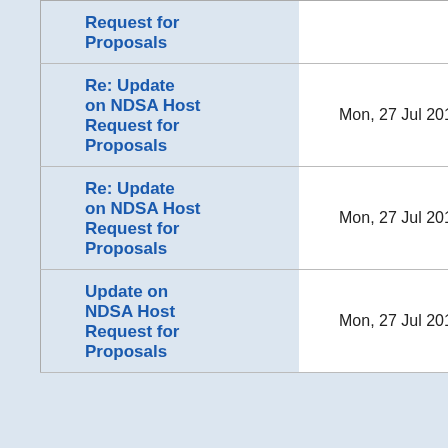| Subject | Date | Lines |
| --- | --- | --- |
| Request for Proposals |  |  |
| Re: Update on NDSA Host Request for Proposals | Mon, 27 Jul 2015 11:54:07 -0400 | 142 lines |
| Re: Update on NDSA Host Request for Proposals | Mon, 27 Jul 2015 15:28:58 +0000 | 53 lines |
| Update on NDSA Host Request for Proposals | Mon, 27 Jul 2015 09:48:49 -0400 | 33 lines |
June 2017
May 2017
April 2017
March 2017
February 2017
January 2017
December 2016
November 2016
October 2016
September 2016
August 2016
July 2016
June 2016
May 2016
April 2016
March 2016
February 2016
January 2016
December 2015
November 2015
October 2015
September 2015
August 2015
July 2015
June 2015
May 2015
April 2015
March 2015
February 2015
January 2015
December 2014
November 2014
October 2014